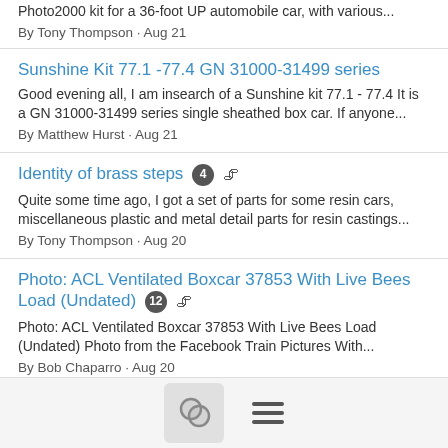Photo2000 kit for a 36-foot UP automobile car, with various...
By Tony Thompson · Aug 21
Sunshine Kit 77.1 -77.4 GN 31000-31499 series
Good evening all, I am insearch of a Sunshine kit 77.1 - 77.4 It is a GN 31000-31499 series single sheathed box car. If anyone...
By Matthew Hurst · Aug 21
Identity of brass steps [4 replies, attachment]
Quite some time ago, I got a set of parts for some resin cars, miscellaneous plastic and metal detail parts for resin castings...
By Tony Thompson · Aug 20
Photo: ACL Ventilated Boxcar 37853 With Live Bees Load (Undated) [12 replies, attachment]
Photo: ACL Ventilated Boxcar 37853 With Live Bees Load (Undated) Photo from the Facebook Train Pictures With...
By Bob Chaparro · Aug 20
Brake Component Identification [8 replies, attachment]